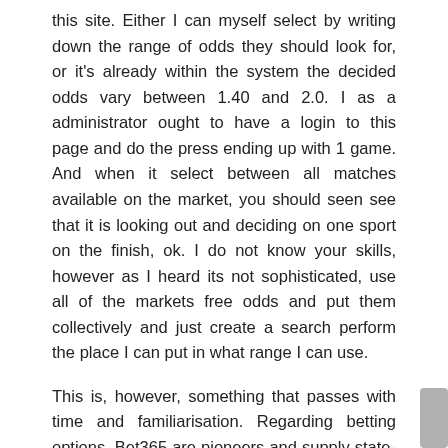this site. Either I can myself select by writing down the range of odds they should look for, or it's already within the system the decided odds vary between 1.40 and 2.0. I as a administrator ought to have a login to this page and do the press ending up with 1 game. And when it select between all matches available on the market, you should seen see that it is looking out and deciding on one sport on the finish, ok. I do not know your skills, however as I heard its not sophisticated, use all of the markets free odds and put them collectively and just create a search perform the place I can put in what range I can use.
This is, however, something that passes with time and familiarisation. Regarding betting options, Bet365 are pioneers and supply state-of-the-art versions when it comes tocash out and "construct you bet". There are the ever in style soccer and horse racing, as nicely as markets on sports activities actions that a quantity of of bet365's rivals don't cowl, including trotting and futsal. You can create a single guess by combining decisions